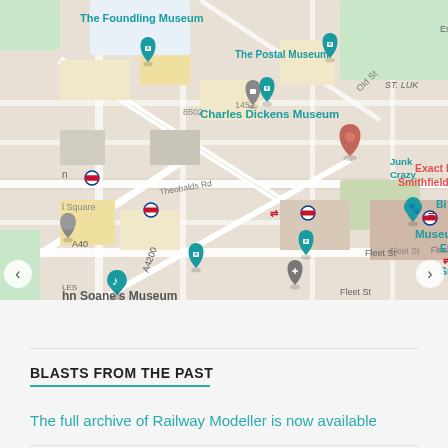[Figure (map): Google Maps view of central London showing landmarks including The Foundling Museum, The Postal Museum, Charles Dickens Museum, Exact Editions, Smithfield Market, Museum of London, Exactest UK, St. Paul's Cathedral, Academic Book Week, John Soane's Museum, Opera House, with street names including Theobalds Rd, Fleet St, A40, A4200, and various transit markers.]
BLASTS FROM THE PAST
The full archive of Railway Modeller is now available